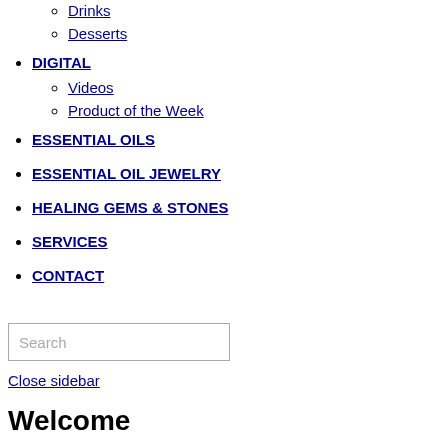Drinks
Desserts
DIGITAL
Videos
Product of the Week
ESSENTIAL OILS
ESSENTIAL OIL JEWELRY
HEALING GEMS & STONES
SERVICES
CONTACT
Search
Close sidebar
Welcome